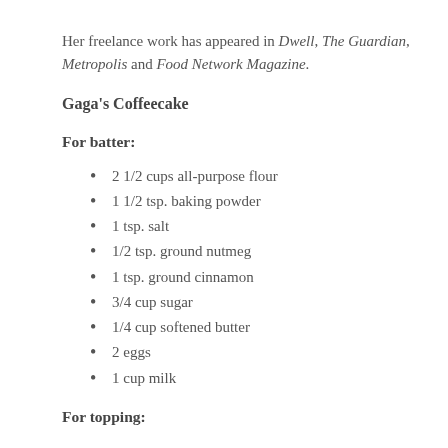Her freelance work has appeared in Dwell, The Guardian, Metropolis and Food Network Magazine.
Gaga's Coffeecake
For batter:
2 1/2 cups all-purpose flour
1 1/2 tsp. baking powder
1 tsp. salt
1/2 tsp. ground nutmeg
1 tsp. ground cinnamon
3/4 cup sugar
1/4 cup softened butter
2 eggs
1 cup milk
For topping: